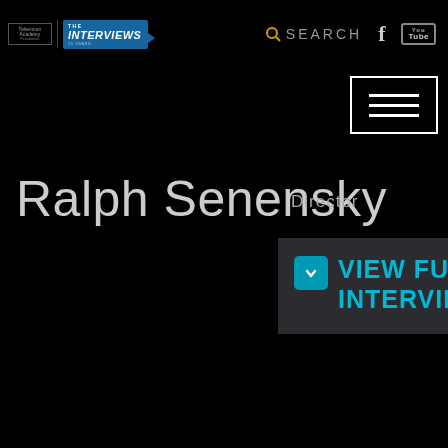[Figure (logo): Television Academy Foundation - The Interviews 25 Years logo]
SEARCH
[Figure (logo): Facebook icon]
[Figure (logo): YouTube icon]
[Figure (other): Hamburger menu button (three horizontal lines in a rectangle border)]
Ralph Senensky
Director
VIEW FULL INTERVIEW